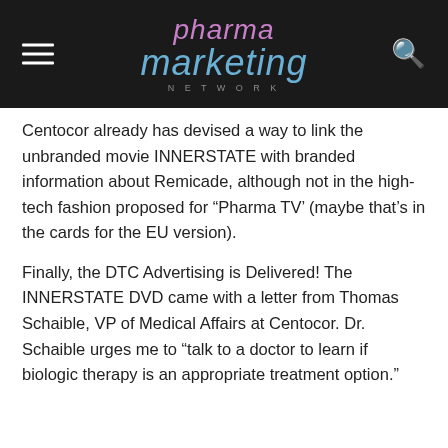pharma marketing NETWORK
Centocor already has devised a way to link the unbranded movie INNERSTATE with branded information about Remicade, although not in the high-tech fashion proposed for “Pharma TV’ (maybe that’s in the cards for the EU version).
Finally, the DTC Advertising is Delivered! The INNERSTATE DVD came with a letter from Thomas Schaible, VP of Medical Affairs at Centocor. Dr. Schaible urges me to “talk to a doctor to learn if biologic therapy is an appropriate treatment option.”